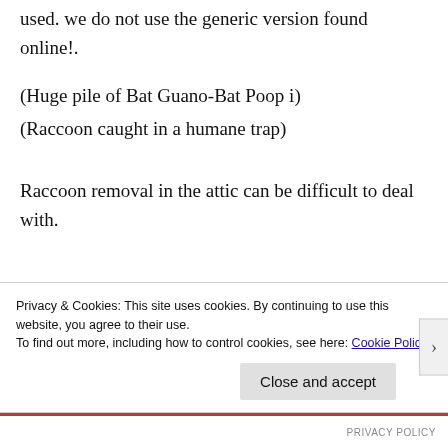used. we do not use the generic version found online!.
(Huge pile of Bat Guano-Bat Poop i)
(Raccoon caught in a humane trap)
Raccoon removal in the attic can be difficult to deal with.
Privacy & Cookies: This site uses cookies. By continuing to use this website, you agree to their use.
To find out more, including how to control cookies, see here: Cookie Policy